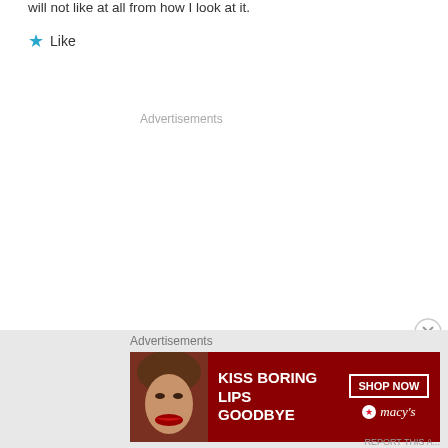will not like at all from how I look at it.
★ Like
Advertisements
[Figure (photo): Advertisement banner: Macy's lipstick ad. Red background with woman's face, text 'KISS BORING LIPS GOODBYE' and 'SHOP NOW' button with Macy's star logo.]
Advertisements
REPORT THIS A...